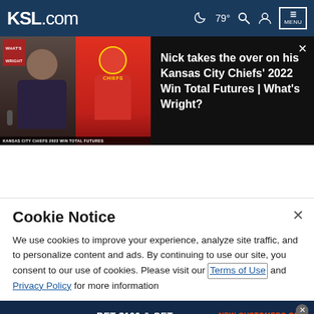KSL.com  79°  MENU
[Figure (screenshot): Video thumbnail and title card for 'Nick takes the over on his Kansas City Chiefs' 2022 Win Total Futures | What's Wright?' on KSL.com]
Nick takes the over on his Kansas City Chiefs' 2022 Win Total Futures | What's Wright?
Cookie Notice
We use cookies to improve your experience, analyze site traffic, and to personalize content and ads. By continuing to use our site, you consent to our use of cookies. Please visit our Terms of Use and Privacy Policy for more information
[Figure (infographic): WynnBET Sportsbook advertisement: BET $100 & GET $100 FREE BET — NEW CUSTOMERS ONLY — BET NOW button]